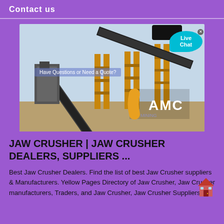Contact us
[Figure (photo): Industrial conveyor belt and jaw crusher equipment at a construction/mining site with AMC logo overlay and Live Chat bubble]
JAW CRUSHER | JAW CRUSHER DEALERS, SUPPLIERS ...
Best Jaw Crusher Dealers. Find the list of best Jaw Crusher suppliers & Manufacturers. Yellow Pages Directory of Jaw Crusher, Jaw Crusher manufacturers, Traders, and Jaw Crusher, Jaw Crusher Suppliers &